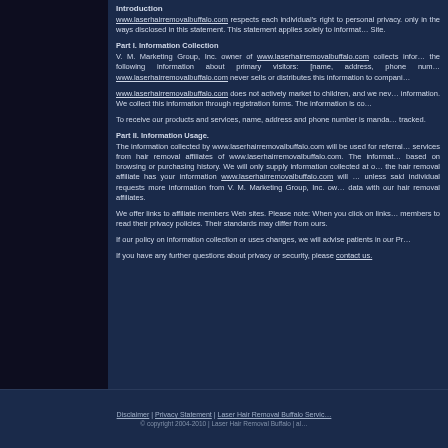Introduction
www.laserhairremovalbuffalo.com respects each individual's right to personal privacy. only in the ways disclosed in this statement. This statement applies solely to information collected at this Site.
Part I. Information Collection
V. M. Marketing Group, Inc. owner of www.laserhairremovalbuffalo.com collects information about the following information about primary visitors: [name, address, phone number]. www.laserhairremovalbuffalo.com never sells or distributes this information to companies or individuals.
www.laserhairremovalbuffalo.com does not actively market to children, and we never collect their information. We collect this information through registration forms. The information is collected voluntarily.
To receive our products and services, name, address and phone number is mandatory. IP addresses are tracked.
Part II. Information Usage.
The information collected by www.laserhairremovalbuffalo.com will be used for referral purposes to obtain services from hair removal affiliates of www.laserhairremovalbuffalo.com. The information will not be profiled based on browsing or purchasing history. We will only supply information collected at our site. Once the hair removal affiliate has your information www.laserhairremovalbuffalo.com will not contact you unless said individual requests more information from V. M. Marketing Group, Inc. over sharing of collected data with our hair removal affiliates.
We offer links to affiliate members Web sites. Please note: When you click on links we encourage members to read their privacy policies. Their standards may differ from ours.
If our policy on information collection or uses changes, we will advise patients in our Privacy Statement.
If you have any further questions about privacy or security, please contact us.
Disclaimer | Privacy Statement | Laser Hair Removal Buffalo Service © copyright 2004-2010 | Laser Hair Removal Buffalo | all